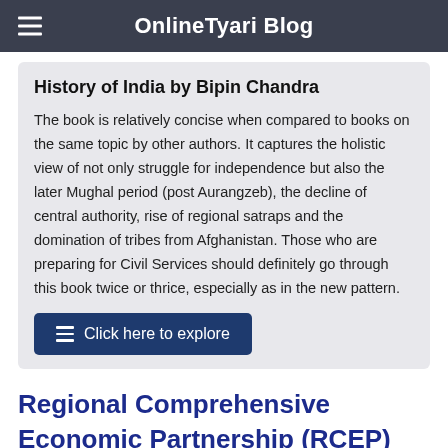OnlineTyari Blog
History of India by Bipin Chandra
The book is relatively concise when compared to books on the same topic by other authors. It captures the holistic view of not only struggle for independence but also the later Mughal period (post Aurangzeb), the decline of central authority, rise of regional satraps and the domination of tribes from Afghanistan. Those who are preparing for Civil Services should definitely go through this book twice or thrice, especially as in the new pattern.
Click here to explore
Regional Comprehensive Economic Partnership (RCEP)